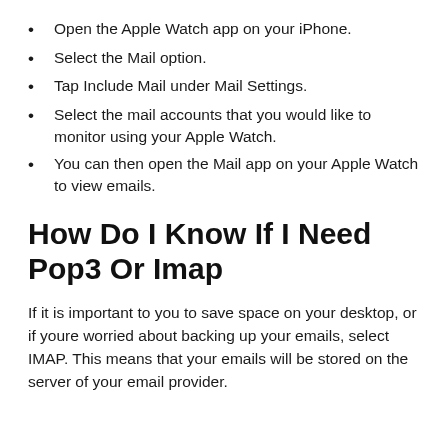Open the Apple Watch app on your iPhone.
Select the Mail option.
Tap Include Mail under Mail Settings.
Select the mail accounts that you would like to monitor using your Apple Watch.
You can then open the Mail app on your Apple Watch to view emails.
How Do I Know If I Need Pop3 Or Imap
If it is important to you to save space on your desktop, or if youre worried about backing up your emails, select IMAP. This means that your emails will be stored on the server of your email provider.